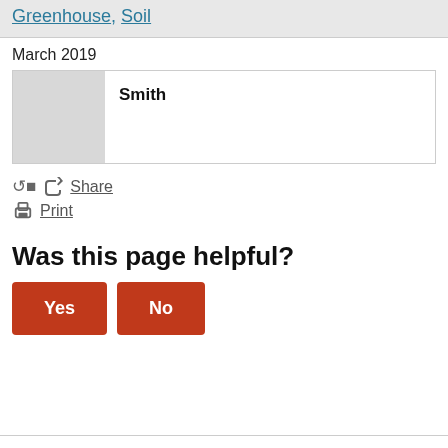Greenhouse, Soil
March 2019
|  | Smith |
Share
Print
Was this page helpful?
Yes
No